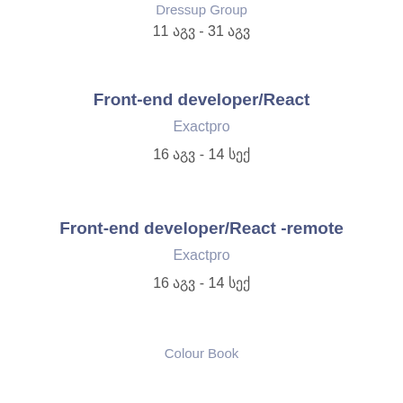Dressup Group
11 აგვ - 31 აგვ
Front-end developer/React
Exactpro
16 აგვ - 14 სექ
Front-end developer/React -remote
Exactpro
16 აგვ - 14 სექ
Colour Book